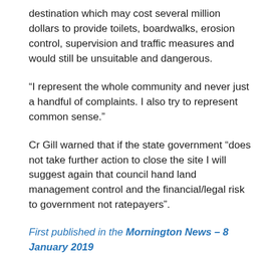destination which may cost several million dollars to provide toilets, boardwalks, erosion control, supervision and traffic measures and would still be unsuitable and dangerous.
“I represent the whole community and never just a handful of complaints. I also try to represent common sense.”
Cr Gill warned that if the state government “does not take further action to close the site I will suggest again that council hand land management control and the financial/legal risk to government not ratepayers”.
First published in the Mornington News – 8 January 2019